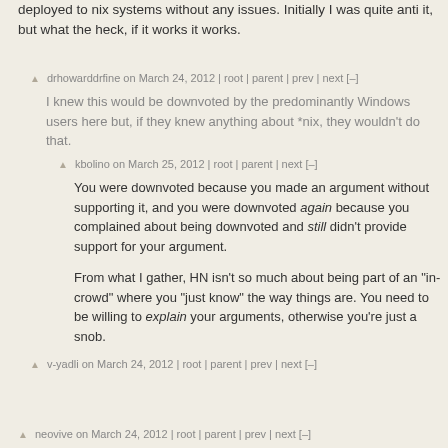deployed to nix systems without any issues. Initially I was quite anti it, but what the heck, if it works it works.
drhowarddrfine on March 24, 2012 | root | parent | prev | next [–]
I knew this would be downvoted by the predominantly Windows users here but, if they knew anything about *nix, they wouldn't do that.
kbolino on March 25, 2012 | root | parent | next [–]
You were downvoted because you made an argument without supporting it, and you were downvoted again because you complained about being downvoted and still didn't provide support for your argument.
From what I gather, HN isn't so much about being part of an "in-crowd" where you "just know" the way things are. You need to be willing to explain your arguments, otherwise you're just a snob.
v-yadli on March 24, 2012 | root | parent | prev | next [–]
I once worked on a virtual usb device project on linux with Mono, at least ioctl and pointers work well for me. Use Java for this? No...
Moreover, for maximum performance, mono provides facilities for users to embed native code into the runtime, much faster than Pinvoke.
neovive on March 24, 2012 | root | parent | prev | next [–]